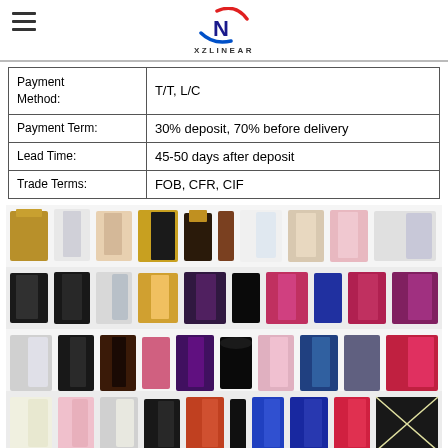XZLINEAR logo and hamburger menu
| Payment Method: | T/T, L/C |
| Payment Term: | 30% deposit, 70% before delivery |
| Lead Time: | 45-50 days after deposit |
| Trade Terms: | FOB, CFR, CIF |
[Figure (photo): Grid of various perfume/fragrance bottles and boxes in multiple rows]